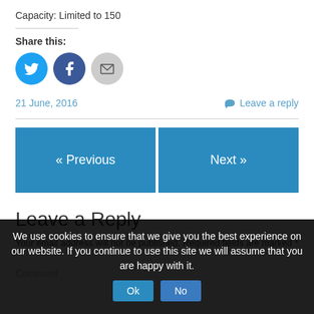Capacity: Limited to 150
Share this:
[Figure (infographic): Social sharing icons: Twitter (blue circle with bird), Facebook (dark blue circle with F), Email (gray circle with envelope)]
21 June, 2016
Leave a reply
« Previous
Next »
Leave a Reply
Your email address will not be published. Required fields are marked *
Comment
We use cookies to ensure that we give you the best experience on our website. If you continue to use this site we will assume that you are happy with it.
Ok
No